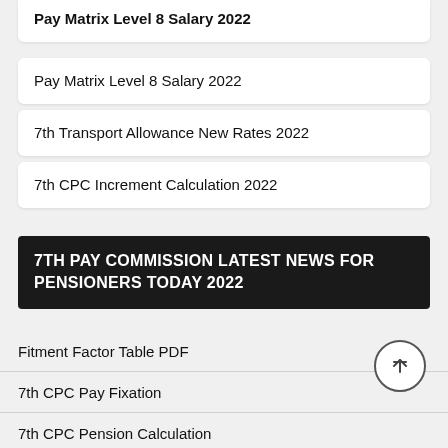Pay Matrix Level 8 Salary 2022
7th Transport Allowance New Rates 2022
7th CPC Increment Calculation 2022
7TH PAY COMMISSION LATEST NEWS FOR PENSIONERS TODAY 2022
Fitment Factor Table PDF
7th CPC Pay Fixation
7th CPC Pension Calculation
7th CPC Pension Fixation Examples